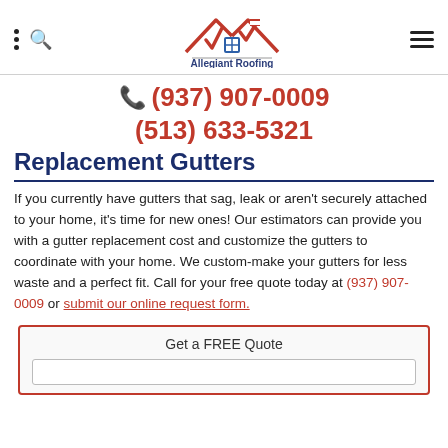Allegiant Roofing [logo with navigation icons]
(937) 907-0009
(513) 633-5321
Replacement Gutters
If you currently have gutters that sag, leak or aren't securely attached to your home, it's time for new ones! Our estimators can provide you with a gutter replacement cost and customize the gutters to coordinate with your home. We custom-make your gutters for less waste and a perfect fit. Call for your free quote today at (937) 907-0009 or submit our online request form.
Get a FREE Quote